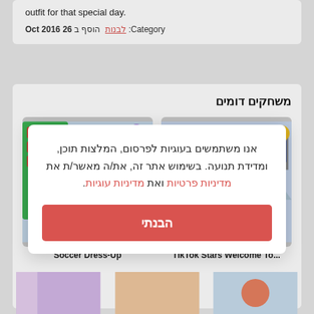outfit for that special day.
Category: לבנות  הוסף ב 26 Oct 2016
משחקים דומים
[Figure (screenshot): Soccer Dress-Up game thumbnail showing animated girl in red outfit with green clothing panel]
[Figure (screenshot): TikTok Stars Welcome To... game thumbnail showing Barbie-like character in black dress with clothing rack]
Soccer Dress-Up
TikTok Stars Welcome To...
אנו משתמשים בעוגיות לפרסום, המלצות תוכן, ומדידת תנועה. בשימוש אתר זה, את/ה מאשר/ת את מדיניות פרטיות ואת מדיניות עוגיות.
הבנתי